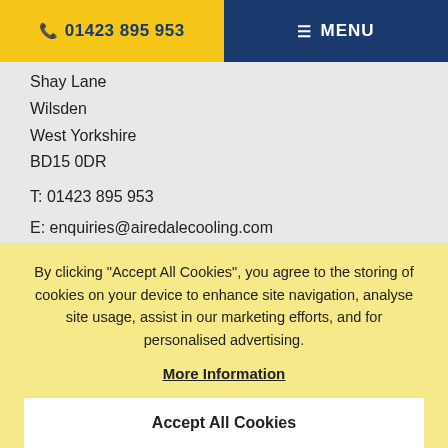📞 01423 895 953 | ☰ MENU
Shay Lane
Wilsden
West Yorkshire
BD15 0DR

T: 01423 895 953

E: enquiries@airedalecooling.com
PLEASE LEAVE US A Google REVIEW
By clicking "Accept All Cookies", you agree to the storing of cookies on your device to enhance site navigation, analyse site usage, assist in our marketing efforts, and for personalised advertising.
More Information
Accept All Cookies